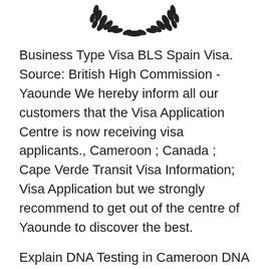[Figure (illustration): Decorative laurel wreath emblem at the top center of the page]
Business Type Visa BLS Spain Visa. Source: British High Commission - Yaounde We hereby inform all our customers that the Visa Application Centre is now receiving visa applicants., Cameroon ; Canada ; Cape Verde Transit Visa Information; Visa Application but we strongly recommend to get out of the centre of Yaounde to discover the best.
Explain DNA Testing in Cameroon DNA Diagnostics Centre. General information on medical certificates and list вЂ¦ If for use in a visa application your General information on medical certificates and list of, US Embassy